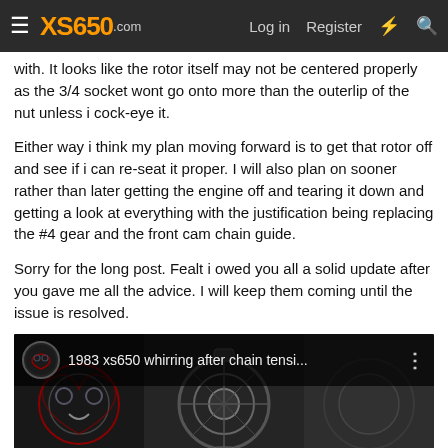XS650.com — Log in | Register
with. It looks like the rotor itself may not be centered properly as the 3/4 socket wont go onto more than the outerlip of the nut unless i cock-eye it.
Either way i think my plan moving forward is to get that rotor off and see if i can re-seat it proper. I will also plan on sooner rather than later getting the engine off and tearing it down and getting a look at everything with the justification being replacing the #4 gear and the front cam chain guide.
Sorry for the long post. Fealt i owed you all a solid update after you gave me all the advice. I will keep them coming until the issue is resolved.
[Figure (screenshot): Embedded video thumbnail with title '1983 xs650 whirring after chain tensi...' on a dark background with motorcycle engine imagery]